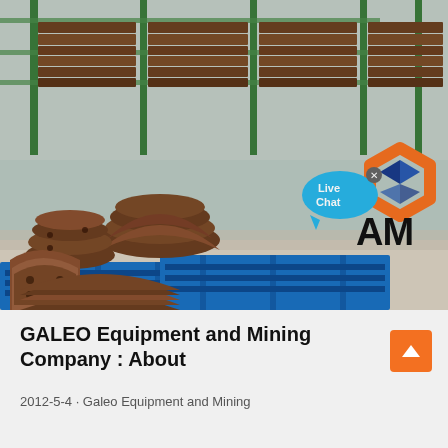[Figure (photo): Warehouse interior showing stacks of brown metal crusher/mining equipment parts (concave liners, mantles) on blue plastic pallets, with green metal shelves in the background. A 'Live Chat' bubble and an AM company logo overlay are visible in the lower right of the photo.]
GALEO Equipment and Mining Company : About
2012-5-4 · Galeo Equipment and Mining